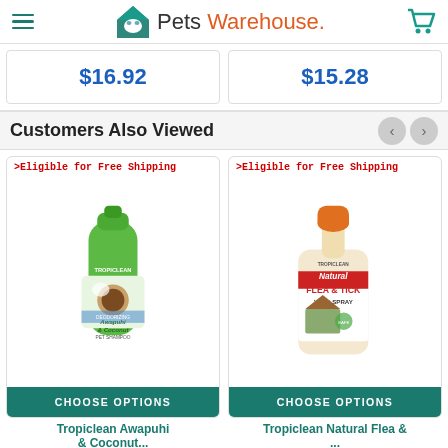Pets Warehouse
$16.92
$15.28
Customers Also Viewed
[Figure (photo): Tropiclean Awapuhi & Coconut Pet Shampoo bottle — green bottle with coconut imagery, labeled Awapuhi & Coconut Pet Shampoo]
[Figure (photo): Tropiclean Natural Flea & Tick Yard Spray — orange-capped white spray bottle with house imagery]
Tropiclean Awapuhi & Coconut...
Tropiclean Natural Flea &...